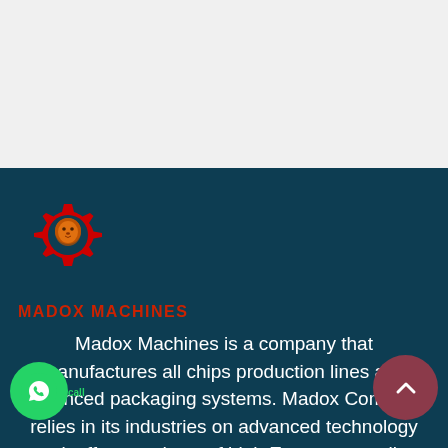[Figure (logo): Madox Machines logo: red gear with orange lion head inside]
MADOX MACHINES
Madox Machines is a company that manufactures all chips production lines and advanced packaging systems. Madox Company relies in its industries on advanced technology as it offers products of high European quality that give it a strong position in the global markets. Madox was founded in 1991 in the